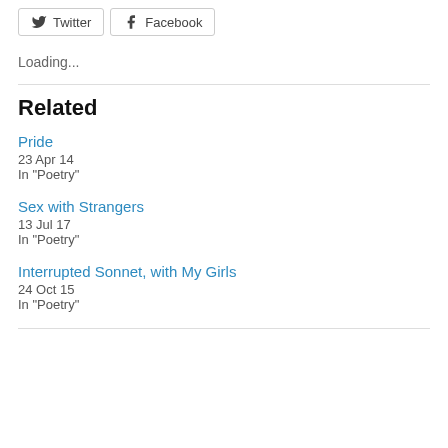[Figure (other): Social share buttons for Twitter and Facebook]
Loading...
Related
Pride
23 Apr 14
In "Poetry"
Sex with Strangers
13 Jul 17
In "Poetry"
Interrupted Sonnet, with My Girls
24 Oct 15
In "Poetry"